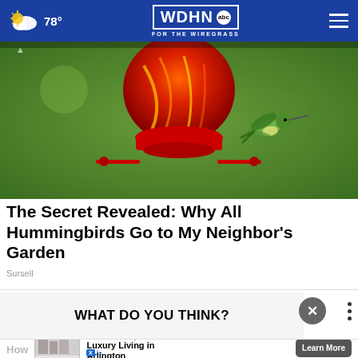78° WDHN FOR THE WIREGRASS abc
[Figure (photo): A colorful red glass hummingbird feeder with a hummingbird hovering nearby, green blurred background]
The Secret Revealed: Why All Hummingbirds Go to My Neighbor's Garden
Sursell
WHAT DO YOU THINK?
How
[Figure (photo): Advertisement: Cortland Rosslyn - Luxury Living in Arlington with Learn More button]
Cortland Rosslyn
Luxury Living in Arlington
Learn More